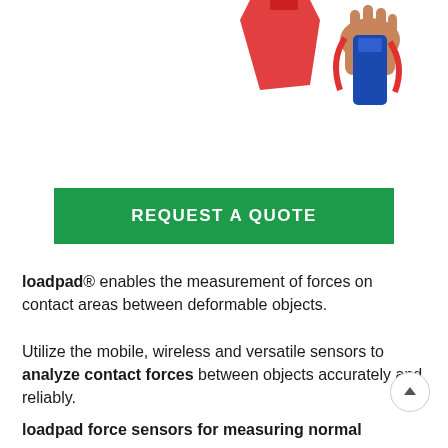[Figure (photo): Partial view of a person's hand holding a blue device with red object visible at top, cropped at the top of the page]
REQUEST A QUOTE
loadpad® enables the measurement of forces on contact areas between deformable objects.
Utilize the mobile, wireless and versatile sensors to analyze contact forces between objects accurately and reliably.
loadpad force sensors for measuring normal